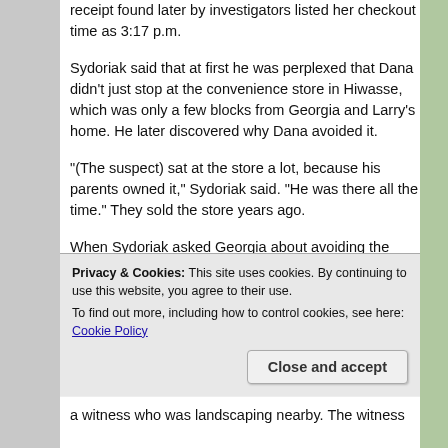receipt found later by investigators listed her checkout time as 3:17 p.m.
Sydoriak said that at first he was perplexed that Dana didn't just stop at the convenience store in Hiwasse, which was only a few blocks from Georgia and Larry's home. He later discovered why Dana avoided it.
(The suspect) sat at the store a lot, because his parents owned it,” Sydoriak said. “He was there all the time.” They sold the store years ago.
When Sydoriak asked Georgia about avoiding the nearby Hiwasse Dairy Freeze — what residents called the “Hiwasse Hilton” — Georgia told him “Dana didn't
Privacy & Cookies: This site uses cookies. By continuing to use this website, you agree to their use.
To find out more, including how to control cookies, see here: Cookie Policy
a witness who was landscaping nearby. The witness